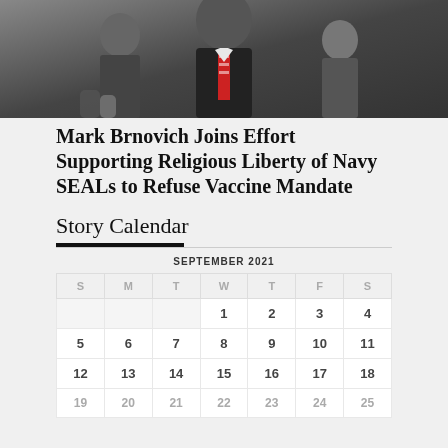[Figure (photo): Photo of a man in a suit with a red striped tie, surrounded by other people in a crowd. Dark tones, appears to be an outdoor event.]
Mark Brnovich Joins Effort Supporting Religious Liberty of Navy SEALs to Refuse Vaccine Mandate
Story Calendar
| S | M | T | W | T | F | S |
| --- | --- | --- | --- | --- | --- | --- |
|  |  |  | 1 | 2 | 3 | 4 |
| 5 | 6 | 7 | 8 | 9 | 10 | 11 |
| 12 | 13 | 14 | 15 | 16 | 17 | 18 |
| 19 | 20 | 21 | 22 | 23 | 24 | 25 |